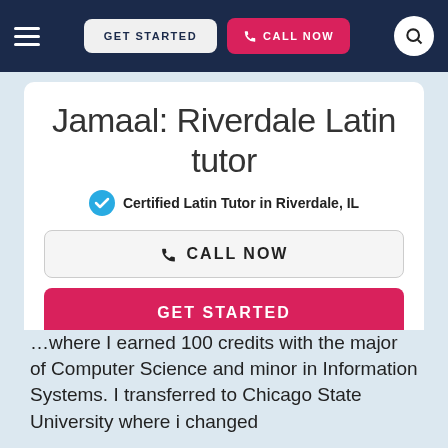≡  GET STARTED  📞 CALL NOW  🔍
Jamaal: Riverdale Latin tutor
✔ Certified Latin Tutor in Riverdale, IL
📞 CALL NOW
GET STARTED
…where I earned 100 credits with the major of Computer Science and minor in Information Systems. I transferred to Chicago State University where i changed